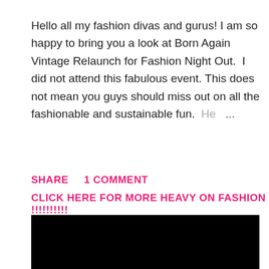Hello all my fashion divas and gurus! I am so happy to bring you a look at Born Again Vintage Relaunch for Fashion Night Out.  I did not attend this fabulous event. This does not mean you guys should miss out on all the fashionable and sustainable fun.  He  ...
SHARE    1 COMMENT
CLICK HERE FOR MORE HEAVY ON FASHION !!!!!!!!!!
[Figure (photo): A solid black rectangular image, likely a video embed or photo that failed to load.]